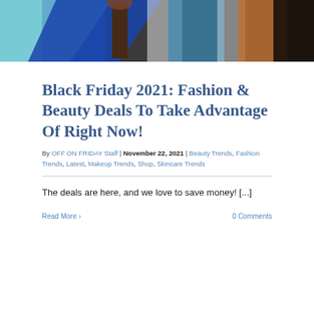[Figure (photo): Hero image showing a person standing in front of colorful painted walls with blue, teal, white, and orange geometric shapes]
Black Friday 2021: Fashion & Beauty Deals To Take Advantage Of Right Now!
By OFF ON FRIDAY Staff | November 22, 2021 | Beauty Trends, Fashion Trends, Latest, Makeup Trends, Shop, Skincare Trends
The deals are here, and we love to save money! [...]
Read More >
0 Comments